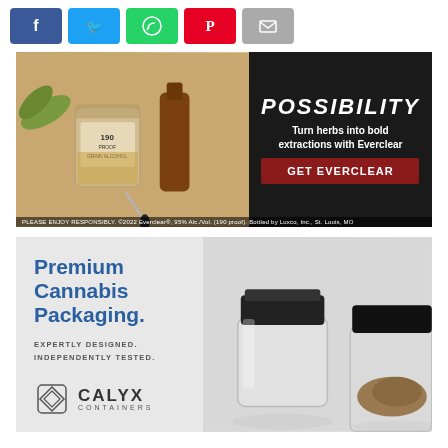[Figure (infographic): Social sharing bar with Facebook (blue), Twitter (light blue), WhatsApp (green), Pinterest (red), and Email (gray) buttons]
[Figure (infographic): Everclear grain alcohol advertisement showing bottles and dropper with text 'POSSIBILITY Turn herbs into bold extractions with Everclear' and red CTA button 'GET EVERCLEAR'. Disclaimer at bottom: PLEASE ENJOY RESPONSIBLY. ©2022 Everclear®, 95% Alc./Vol. (190 proof). Bottled by Luxco, Inc., St. Louis, MO]
[Figure (infographic): Calyx Containers advertisement showing premium cannabis packaging jars with text 'Premium Cannabis Packaging. EXPERTLY DESIGNED. INDEPENDENTLY TESTED.' and Calyx Containers logo]